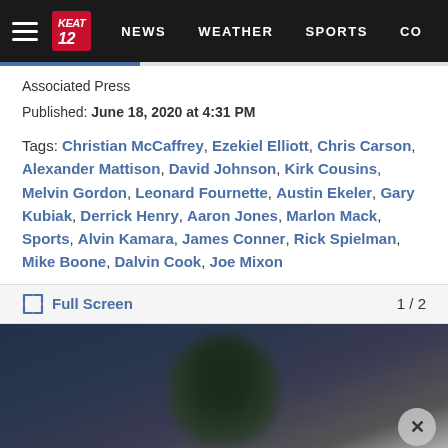KEAT 12 | NEWS | WEATHER | SPORTS | CO
Associated Press
Published: June 18, 2020 at 4:31 PM
Tags: Christian McCaffrey, Ezekiel Elliott, Chris Carson, Alexander Mattison, David Johnson, Kirk Cousins, Melvin Gordon, Leonard Fournette, Austin Ekeler, Gary Kubiak, Derrick Henry, Aaron Jones, Marlon Mack, Sports, Alvin Kamara, James Conner, Rick Spielman, Mike Boone, Dalvin Cook, Joe Mixon
Full Screen 1 / 2
[Figure (photo): A blurred photo of a person wearing a dark cap, with a blurred background. A close (X) button is visible in the bottom right corner.]